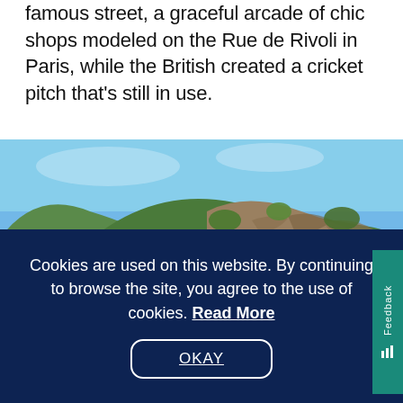famous street, a graceful arcade of chic shops modeled on the Rue de Rivoli in Paris, while the British created a cricket pitch that's still in use.
[Figure (photo): Landscape photo of green tree-covered hills with exposed limestone rock faces under a clear blue sky]
Cookies are used on this website. By continuing to browse the site, you agree to the use of cookies. Read More
OKAY